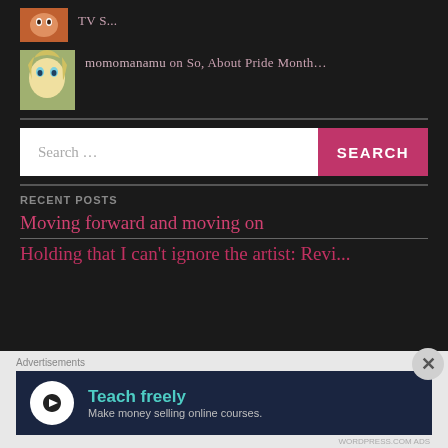TV S...
momomanamu on So, About Pride Month…
Search …
RECENT POSTS
Moving forward and moving on
Advertisements
[Figure (screenshot): Advertisement banner: Teach freely – Make money selling online courses.]